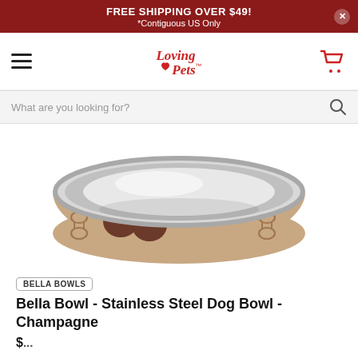FREE SHIPPING OVER $49! *Contiguous US Only
[Figure (logo): Loving Pets logo with heart in the letter 'o']
What are you looking for?
[Figure (photo): Bella Bowl stainless steel dog bowl in champagne color with paw prints and bone designs on the exterior]
BELLA BOWLS
Bella Bowl - Stainless Steel Dog Bowl - Champagne
$...